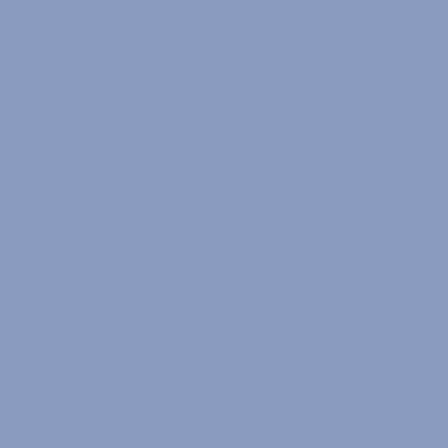| # | Name | Value |
| --- | --- | --- |
| 227 | Moses Green | 2 |
| 228 | Beatrice Williams | 2 |
| 229 | Bishop Williams | 2 |
| 230 | Annie Lee Jackson | 0 |
| 231 | Willie L. Jackson | 1 |
| 232 | Unknown |  |
| 233 | Unknown |  |
| 234 | Charles E. Lee | 1 |
| 235 | Betty J. Jackson | 1 |
| 236 | Brown |  |
| 237 | Maurice Jackson | 2 |
| 238 | Pearlie Mae Williams | 2 |
| 239 | L.C. Williams Sr. | 1 |
| 240 | Unknown |  |
| 241 | Carrie Thorpe |  |
| 242 | Unknown |  |
| 243 | Elmer Wright | 0 |
| 244 | Rachel Sinclair | 1 |
| 245 | James B. Sinclair | 0 |